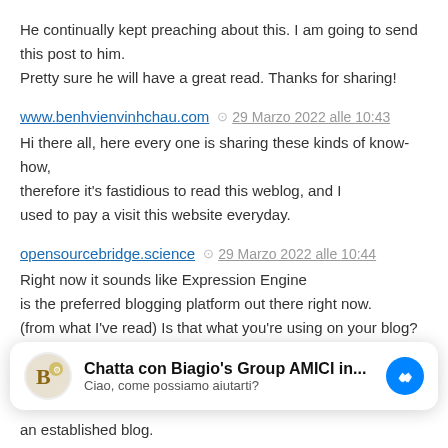He continually kept preaching about this. I am going to send this post to him.
Pretty sure he will have a great read. Thanks for sharing!
www.benhvienvinhchau.com  ⊙  29 Marzo 2022 alle 10:43
Hi there all, here every one is sharing these kinds of know-how, therefore it's fastidious to read this weblog, and I used to pay a visit this website everyday.
opensourcebridge.science  ⊙  29 Marzo 2022 alle 10:44
Right now it sounds like Expression Engine is the preferred blogging platform out there right now. (from what I've read) Is that what you're using on your blog?
http://www.villa-azov.com/user/gardenbead8/
[Figure (screenshot): Messenger chat widget: Biagio's Group AMICI in... with logo and blue messenger icon. Subtitle: Ciao, come possiamo aiutarti?]
an established blog.